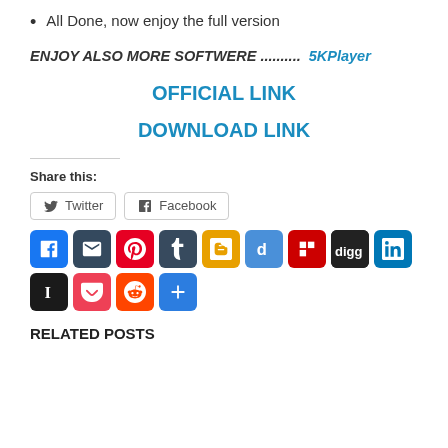All Done, now enjoy the full version
ENJOY ALSO MORE SOFTWERE ............   5KPlayer
OFFICIAL LINK
DOWNLOAD LINK
Share this:
[Figure (infographic): Social share buttons including Twitter and Facebook with border buttons, then a grid of social media icons: Facebook, Email, Pinterest, Tumblr, Blogger, Delicious, Flipboard, Digg, LinkedIn, Instapaper, Pocket, Reddit, Share]
RELATED POSTS